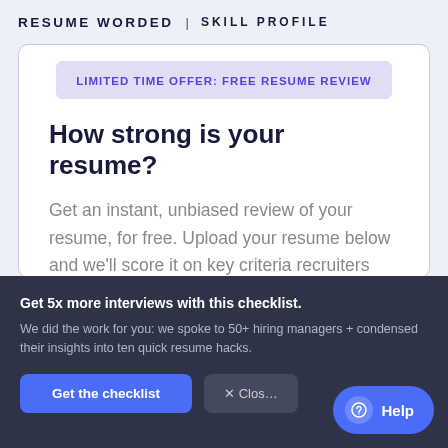RESUME WORDED | SKILL PROFILE
LIMITED TIME OFFER: FREE RESUME REVIEW
How strong is your resume?
Get an instant, unbiased review of your resume, for free. Upload your resume below and we'll score it on key criteria recruiters and hiring managers look for — in 30 seconds.
Get 5x more interviews with this checklist.
We did the work for you: we spoke to 50+ hiring managers + condensed their insights into ten quick resume hacks.
Get the checklist
× Close